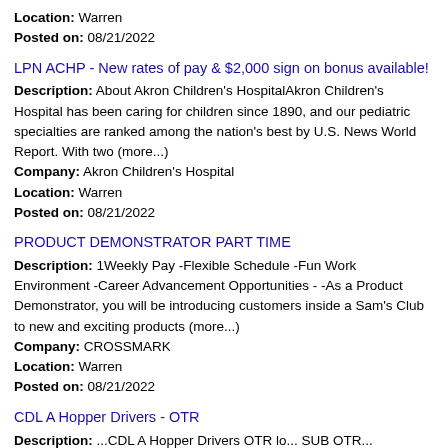Location: Warren
Posted on: 08/21/2022
LPN ACHP - New rates of pay & $2,000 sign on bonus available!
Description: About Akron Children's HospitalAkron Children's Hospital has been caring for children since 1890, and our pediatric specialties are ranked among the nation's best by U.S. News World Report. With two (more...)
Company: Akron Children's Hospital
Location: Warren
Posted on: 08/21/2022
PRODUCT DEMONSTRATOR PART TIME
Description: 1Weekly Pay -Flexible Schedule -Fun Work Environment -Career Advancement Opportunities - -As a Product Demonstrator, you will be introducing customers inside a Sam's Club to new and exciting products (more...)
Company: CROSSMARK
Location: Warren
Posted on: 08/21/2022
CDL A Hopper Drivers - OTR
Description: ...CDL A Hopper Drivers OTR lo... SUB OTR...